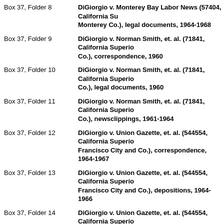Box 37, Folder 8 — DiGiorgio v. Monterey Bay Labor News (57404, California Superior Court, Monterey Co.), legal documents, 1964-1968
Box 37, Folder 9 — DiGiorgio v. Norman Smith, et. al. (71841, California Superior Court, Monterey Co.), correspondence, 1960
Box 37, Folder 10 — DiGiorgio v. Norman Smith, et. al. (71841, California Superior Court, Monterey Co.), legal documents, 1960
Box 37, Folder 11 — DiGiorgio v. Norman Smith, et. al. (71841, California Superior Court, Monterey Co.), newsclippings, 1961-1964
Box 37, Folder 12 — DiGiorgio v. Union Gazette, et. al. (544554, California Superior Court, San Francisco City and Co.), correspondence, 1964-1967
Box 37, Folder 13 — DiGiorgio v. Union Gazette, et. al. (544554, California Superior Court, San Francisco City and Co.), depositions, 1964-1966
Box 37, Folder 14 — DiGiorgio v. Union Gazette, et. al. (544554, California Superior Court, San Francisco City and Co.), legal documents, 1964-1968
Box 37, Folder 15 — DiGiorgio v. United Packinghouse Workers of America (7263, Superior Court, San Joaquin Co.), 1961
Box 38, Folder 1 — DiGiorgio v. Valley Labor Citizen (740, California Court of Appeals, Fresno), briefs, 1967